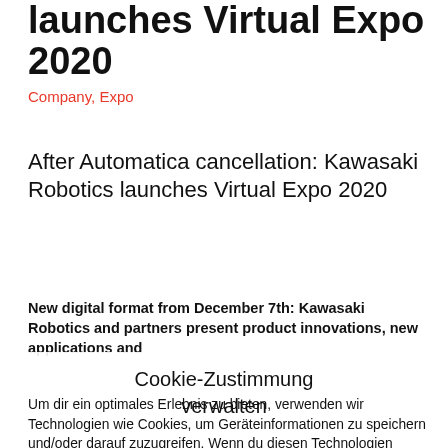launches Virtual Expo 2020
Company, Expo
After Automatica cancellation: Kawasaki Robotics launches Virtual Expo 2020
New digital format from December 7th: Kawasaki Robotics and partners present product innovations, new applications and
Cookie-Zustimmung verwalten
Um dir ein optimales Erlebnis zu bieten, verwenden wir Technologien wie Cookies, um Geräteinformationen zu speichern und/oder darauf zuzugreifen. Wenn du diesen Technologien zustimmst, können wir Daten wie das Surfverhalten oder eindeutige IDs auf dieser Website verarbeiten. Wenn du deine Zustimmung nicht erteilst oder zurückziehst, können bestimmte Merkmale und Funktionen beeinträchtigt werden.